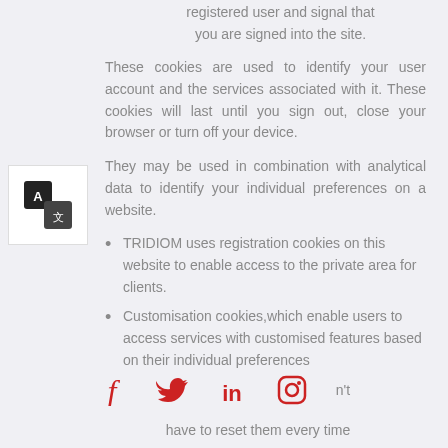registered user and signal that you are signed into the site.
These cookies are used to identify your user account and the services associated with it. These cookies will last until you sign out, close your browser or turn off your device.
They may be used in combination with analytical data to identify your individual preferences on a website.
TRIDIOM uses registration cookies on this website to enable access to the private area for clients.
Customisation cookies,which enable users to access services with customised features based on their individual preferences
[Figure (infographic): Social media icons: Facebook, Twitter, LinkedIn, Instagram in red]
have to reset them every time